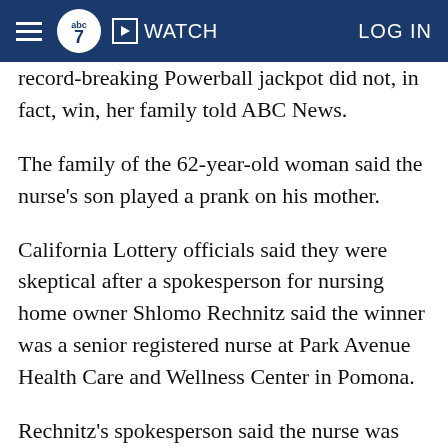☰  abc7  ▶ WATCH  LOG IN
record-breaking Powerball jackpot did not, in fact, win, her family told ABC News.
The family of the 62-year-old woman said the nurse's son played a prank on his mother.
California Lottery officials said they were skeptical after a spokesperson for nursing home owner Shlomo Rechnitz said the winner was a senior registered nurse at Park Avenue Health Care and Wellness Center in Pomona.
Rechnitz's spokesperson said the nurse was given a ticket by her boss, who bought 18,000 tickets for his employees and residents at 80 nursing home across